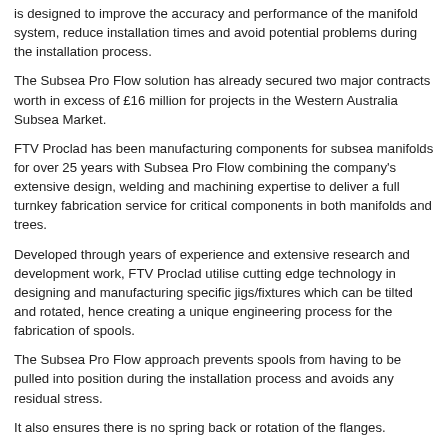is designed to improve the accuracy and performance of the manifold system, reduce installation times and avoid potential problems during the installation process.
The Subsea Pro Flow solution has already secured two major contracts worth in excess of £16 million for projects in the Western Australia Subsea Market.
FTV Proclad has been manufacturing components for subsea manifolds for over 25 years with Subsea Pro Flow combining the company's extensive design, welding and machining expertise to deliver a full turnkey fabrication service for critical components in both manifolds and trees.
Developed through years of experience and extensive research and development work, FTV Proclad utilise cutting edge technology in designing and manufacturing specific jigs/fixtures which can be tilted and rotated, hence creating a unique engineering process for the fabrication of spools.
The Subsea Pro Flow approach prevents spools from having to be pulled into position during the installation process and avoids any residual stress.
It also ensures there is no spring back or rotation of the flanges.